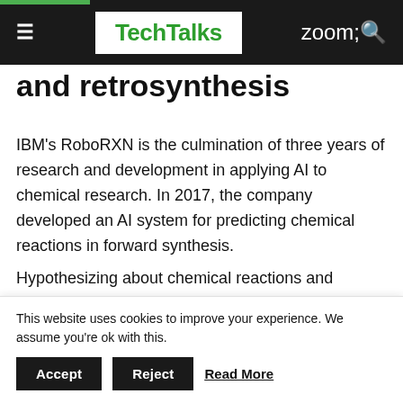TechTalks
and retrosynthesis
IBM's RoboRXN is the culmination of three years of research and development in applying AI to chemical research. In 2017, the company developed an AI system for predicting chemical reactions in forward synthesis.
Hypothesizing about chemical reactions and experimenting with different chemical components is one of the most time-consuming parts of
This website uses cookies to improve your experience. We assume you're ok with this. Accept Reject Read More